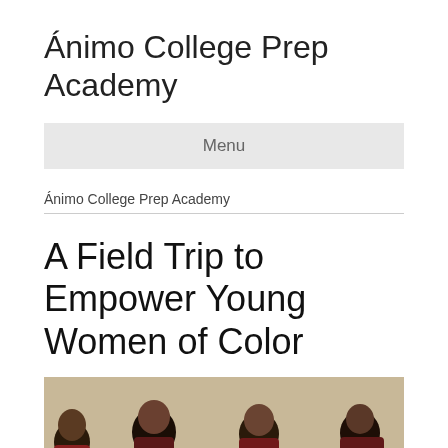Ánimo College Prep Academy
Menu
Ánimo College Prep Academy
A Field Trip to Empower Young Women of Color
[Figure (photo): Photo of young women of color seated, appearing to be in a discussion or meeting setting. Four young women with dark hair are visible, cropped at the bottom of the page.]